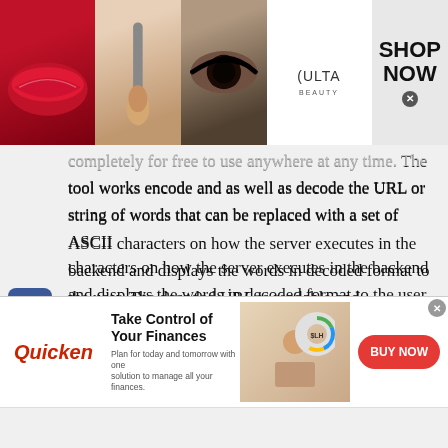[Figure (photo): Ulta Beauty advertisement banner showing makeup imagery (lips, brush, eyes) with Ulta logo and SHOP NOW call to action]
completely for free to use anywhere at any time. The tool works encode and as well as decode the URL or string of words that can be replaced with a set of ASCII characters on how the server executes in the backend and displays the words in decoded format to the user. The decoded URL is readable and understandable to the people.
Our Url Encoder decoder tool can perform encoding and decode things for javascript URLs, ASCII code text.
[Figure (screenshot): Social media sharing sidebar with Facebook, Twitter, Pinterest, Reddit, and share icons]
[Figure (photo): Quicken advertisement: Take Control of Your Finances - BUY NOW button, showing woman at desk with finances chart]